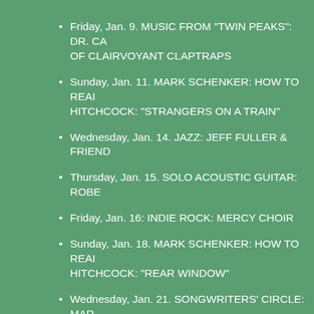Friday, Jan. 9. MUSIC FROM “TWIN PEAKS”: DR. CA OF CLAIRVOYANT CLAPTRAPS
Sunday, Jan. 11. MARK SCHENKER: HOW TO READ HITCHCOCK: “STRANGERS ON A TRAIN”
Wednesday, Jan. 14. JAZZ: JEFF FULLER & FRIEND
Thursday, Jan. 15. SOLO ACOUSTIC GUITAR: ROBE
Friday, Jan. 16: INDIE ROCK: MERCY CHOIR
Sunday, Jan. 18. MARK SCHENKER: HOW TO READ HITCHCOCK: “REAR WINDOW”
Wednesday, Jan. 21. SONGWRITERS’ CIRCLE: MAR NEAL, REX FOWLER
Thursday, Jan. 22. ALT-COUNTRY: HEATHER FAY
Sunday, Jan. 25. MARK SCHENKER: HOW TO READ HITCHCOCK: “NORTH BY NORTHWEST”